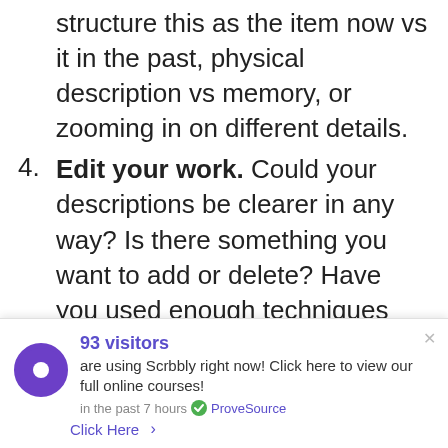structure this as the item now vs it in the past, physical description vs memory, or zooming in on different details.
4. Edit your work. Could your descriptions be clearer in any way? Is there something you want to add or delete? Have you used enough techniques and a good range of different techniques rather than just repeating the same one? Have you used interesting punctuation, a variety of sentence lengths, a range of complex and
93 visitors are using Scrbbly right now! Click here to view our full online courses! in the past 7 hours · ProveSource · Click Here